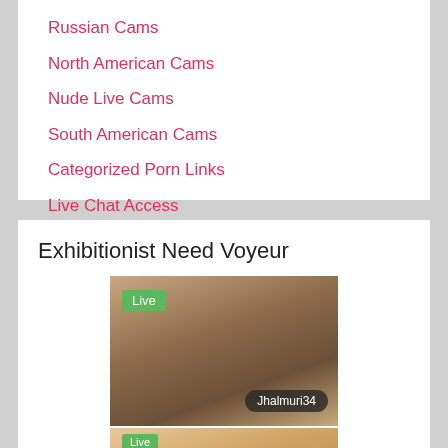Russian Cams
North American Cams
Nude Live Cams
South American Cams
Categorized Porn Links
Live Chat Access
Exhibitionist Need Voyeur
[Figure (photo): Live cam screenshot showing a person's torso with a green 'Live' badge and username 'Jhalmuri34' overlay]
[Figure (photo): Partially visible live cam screenshot at bottom of page]